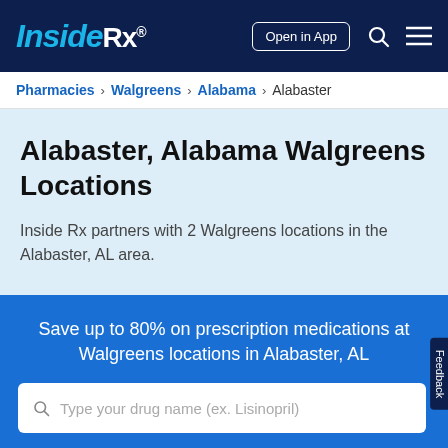Inside Rx® | Open in App
Pharmacies > Walgreens > Alabama > Alabaster
Alabaster, Alabama Walgreens Locations
Inside Rx partners with 2 Walgreens locations in the Alabaster, AL area.
Save up to 80% on prescription medications at Walgreens locations in Alabaster, AL
Type your drug name (ex. Lisinopril)